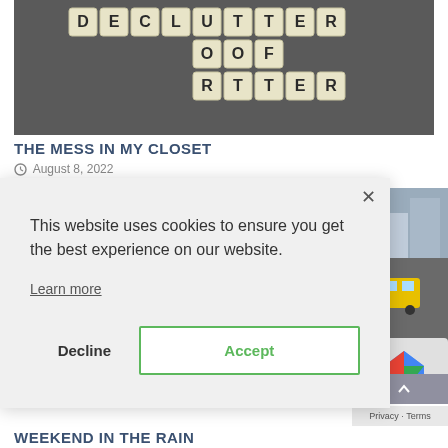[Figure (photo): Scrabble tiles arranged on a dark surface spelling DECLUTTER and OF]
THE MESS IN MY CLOSET
August 8, 2022
[Figure (photo): Sidebar image showing a street scene with a bus and buildings]
This website uses cookies to ensure you get the best experience on our website.

Learn more
Decline
Accept
WEEKEND IN THE RAIN